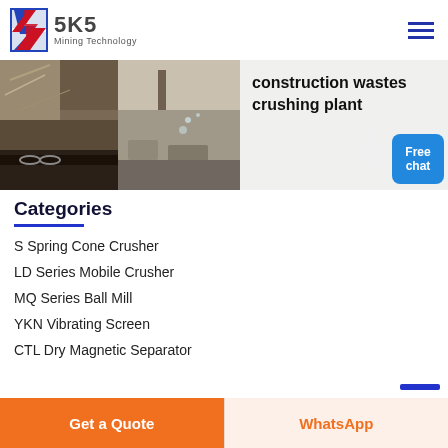[Figure (logo): SKS Mining Technology logo with red/blue S-shaped icon and company name]
[Figure (photo): Two photos side by side showing construction waste crushing plant machinery with rock/debris]
construction wastes crushing plant
Categories
S Spring Cone Crusher
LD Series Mobile Crusher
MQ Series Ball Mill
YKN Vibrating Screen
CTL Dry Magnetic Separator
Get a Quote
WhatsApp